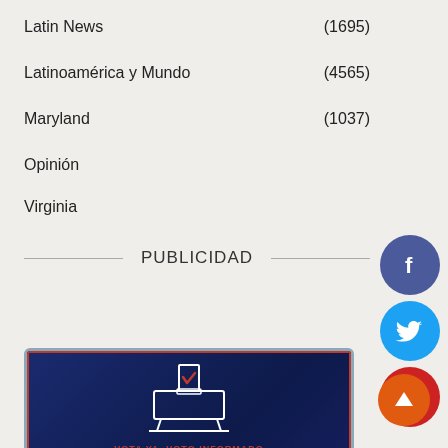Latin News (1695)
Latinoamérica y Mundo (4565)
Maryland (1037)
Opinión
Virginia
PUBLICIDAD
[Figure (illustration): Voting advertisement banner with ballot box graphic, text 'VOTA YA, VOTO INFORMADO', 'VOTE NOW', and 'Empoderamiento' on dark blue background with red border]